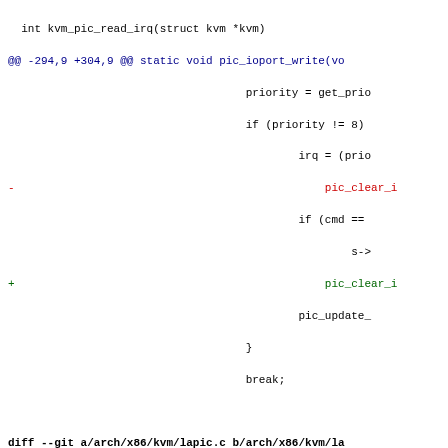[Figure (screenshot): Git diff code patch showing changes to kvm/pic and kvm/lapic.c files, with red lines for removals and green lines for additions, blue for diff headers]
int kvm_pic_read_irq(struct kvm *kvm)
@@ -294,9 +304,9 @@ static void pic_ioport_write(vo
                                    priority = get_prio
                                    if (priority != 8)
                                            irq = (prio
-                                               pic_clear_i
                                            if (cmd ==
                                                    s->
+                                               pic_clear_i
                                            pic_update_
                                    }
                                    break;

diff --git a/arch/x86/kvm/lapic.c b/arch/x86/kvm/la
index 23c217692ea..df8bcb0f66d 100644
--- a/arch/x86/kvm/lapic.c
+++ b/arch/x86/kvm/lapic.c
@@ -471,11 +471,8 @@ static void apic_set_eoi(struc
                trigger_mode = IOAPIC_LEVEL_TRIG;
        else
                trigger_mode = IOAPIC_EDGE_TRIG;
-       if (!(apic_get_reg(apic, APIC_SPIV) & APIC_
-               mutex_lock(&apic->vcpu->kvm->irq_lo
+       if (!(apic_get_reg(apic, APIC_SPIV) & APIC_
                kvm_ioapic_update_eoi(apic->vcpu->k
-               mutex_unlock(&apic->vcpu->kvm->irq_
-           }
 }